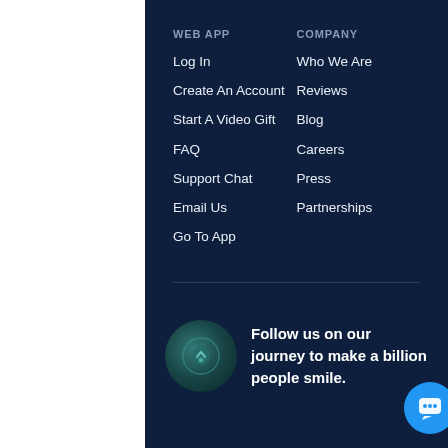WEB APP
Log In
Create An Account
Start A Video Gift
FAQ
Support Chat
Email Us
Go To App
COMPANY
Who We Are
Reviews
Blog
Careers
Press
Partnerships
Follow us on our journey to make a billion people smile.